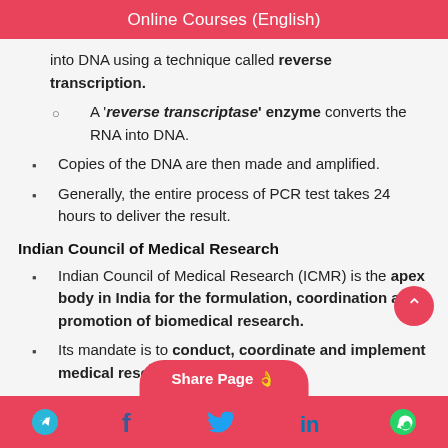Online Courses (English)
into DNA using a technique called reverse transcription.
A 'reverse transcriptase' enzyme converts the RNA into DNA.
Copies of the DNA are then made and amplified.
Generally, the entire process of PCR test takes 24 hours to deliver the result.
Indian Council of Medical Research
Indian Council of Medical Research (ICMR) is the apex body in India for the formulation, coordination and promotion of biomedical research.
Its mandate is to conduct, coordinate and implement medical research... the Society;
Share Page | social icons